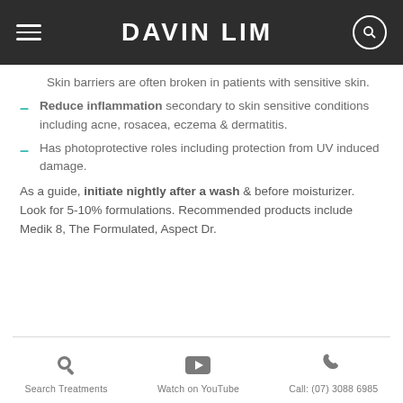DAVIN LIM
Skin barriers are often broken in patients with sensitive skin.
Reduce inflammation secondary to skin sensitive conditions including acne, rosacea, eczema & dermatitis.
Has photoprotective roles including protection from UV induced damage.
As a guide, initiate nightly after a wash & before moisturizer. Look for 5-10% formulations. Recommended products include Medik 8, The Formulated, Aspect Dr.
Search Treatments   Watch on YouTube   Call: (07) 3088 6985